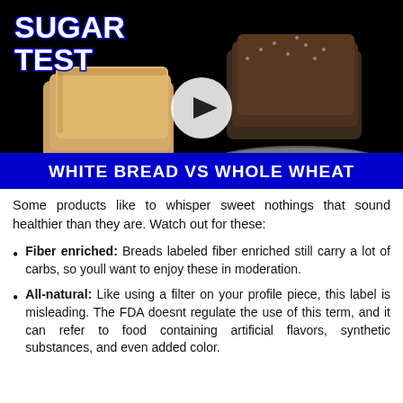[Figure (screenshot): Video thumbnail showing two plates of toast (white bread on left, darker whole wheat on right) against a black background. Text overlay reads 'SUGAR TEST' in bold white with blue outline at top left, and 'WHITE BREAD VS WHOLE WHEAT' in bold white on blue banner at bottom. A white play button circle is centered.]
Some products like to whisper sweet nothings that sound healthier than they are. Watch out for these:
Fiber enriched: Breads labeled fiber enriched still carry a lot of carbs, so youll want to enjoy these in moderation.
All-natural: Like using a filter on your profile piece, this label is misleading. The FDA doesnt regulate the use of this term, and it can refer to food containing artificial flavors, synthetic substances, and even added color.